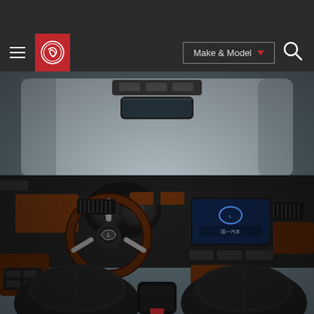Car review website header with navigation bar including hamburger menu, Carfax-style logo, Make & Model dropdown, and search icon
[Figure (photo): Interior photo of a Lexus luxury sedan showing black leather seats, wood-grain dashboard trim, center console with navigation screen, steering wheel with Lexus badge, instrument cluster, rear-view mirror, and panoramic windshield]